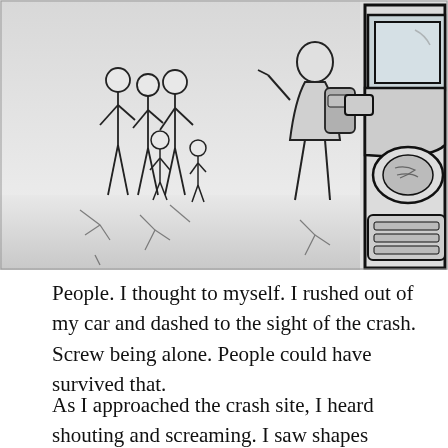[Figure (illustration): A pencil sketch illustration showing a group of people (adults and children) standing together on the left side, and one person with a backpack approaching a large vehicle (truck or bus) on the right side. The ground shows cracks. The scene appears to depict a crash site with bystanders.]
People. I thought to myself. I rushed out of my car and dashed to the sight of the crash. Screw being alone. People could have survived that.
As I approached the crash site, I heard shouting and screaming. I saw shapes moving erratically